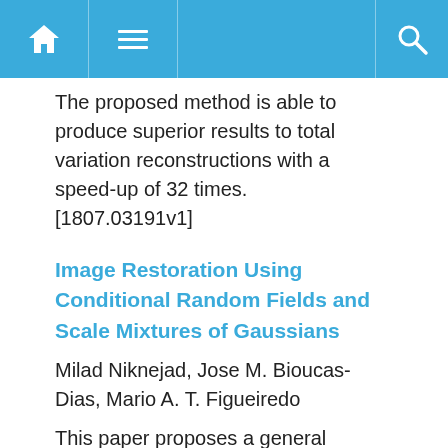Navigation bar with home, menu, and search icons
The proposed method is able to produce superior results to total variation reconstructions with a speed-up of 32 times. [1807.03191v1]
Image Restoration Using Conditional Random Fields and Scale Mixtures of Gaussians
Milad Niknejad, Jose M. Bioucas-Dias, Mario A. T. Figueiredo
This paper proposes a general framework for internal patch-based image restoration based on Conditional Random Fields (CRF). Unlike related models based on Markov Random Fields (MRF), our approach explicitly formulates the posterior